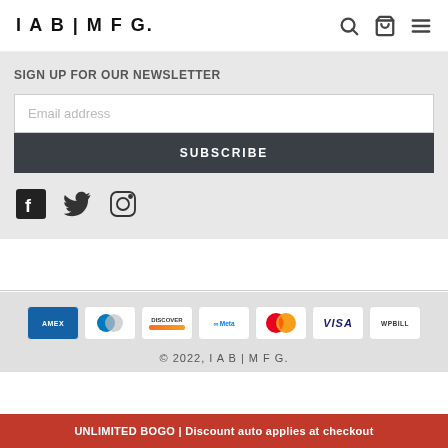IAB | MFG.
SIGN UP FOR OUR NEWSLETTER
Email address
SUBSCRIBE
[Figure (other): Social media icons: Facebook, Twitter, Instagram]
[Figure (other): Payment method icons: Amex, Diners Club, Discover, Meta Pay, Mastercard, Visa, WPBill]
© 2022, I A B | M F G.
UNLIMITED BOGO | Discount auto applies at checkout